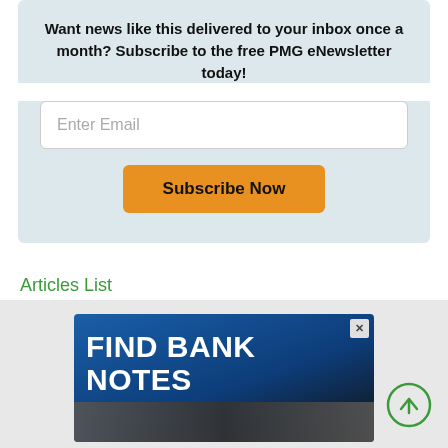Want news like this delivered to your inbox once a month? Subscribe to the free PMG eNewsletter today!
[Figure (screenshot): Email input field with placeholder text 'Enter Email' and an orange 'Subscribe Now' button below it, on a light blue-grey background]
Articles List
[Figure (screenshot): Advertisement banner reading 'FIND BANK NOTES' in white bold text on a dark blue gradient background, with a close (x) button in the top right corner and a partial image of bank notes at the bottom]